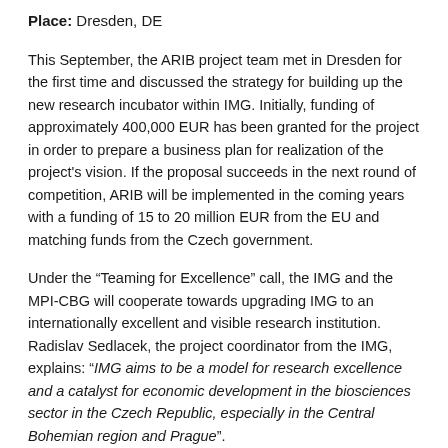Place: Dresden, DE
This September, the ARIB project team met in Dresden for the first time and discussed the strategy for building up the new research incubator within IMG. Initially, funding of approximately 400,000 EUR has been granted for the project in order to prepare a business plan for realization of the project's vision. If the proposal succeeds in the next round of competition, ARIB will be implemented in the coming years with a funding of 15 to 20 million EUR from the EU and matching funds from the Czech government.
Under the “Teaming for Excellence” call, the IMG and the MPI-CBG will cooperate towards upgrading IMG to an internationally excellent and visible research institution. Radislav Sedlacek, the project coordinator from the IMG, explains: “IMG aims to be a model for research excellence and a catalyst for economic development in the biosciences sector in the Czech Republic, especially in the Central Bohemian region and Prague”.